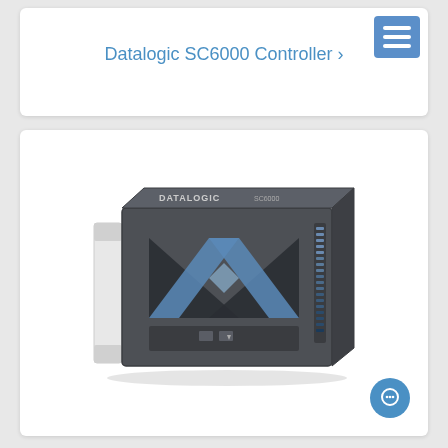Datalogic SC6000 Controller ›
[Figure (photo): Datalogic SC6000 Controller device — a dark grey rectangular industrial barcode reading controller unit with an X-shaped mirror/scanner arrangement visible on the front face, Datalogic logo and SC6000 model text on top, with a white mounting bracket on the left side.]